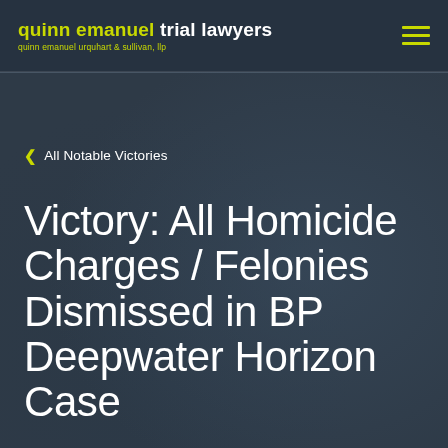quinn emanuel trial lawyers — quinn emanuel urquhart & sullivan, llp
< All Notable Victories
Victory: All Homicide Charges / Felonies Dismissed in BP Deepwater Horizon Case